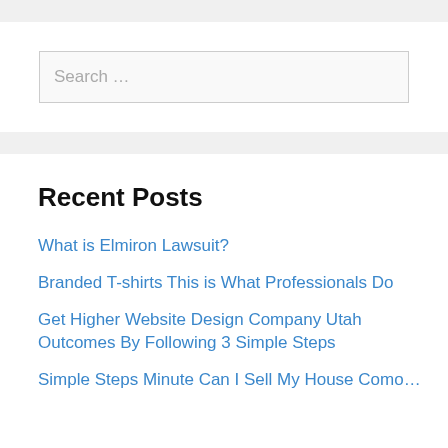Search …
Recent Posts
What is Elmiron Lawsuit?
Branded T-shirts This is What Professionals Do
Get Higher Website Design Company Utah Outcomes By Following 3 Simple Steps
Simple Steps Minute Can I Sell My House Como…